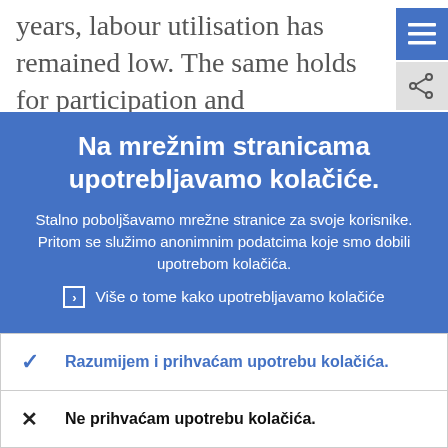years, labour utilisation has remained low. The same holds for participation and employment rates.
Unemployment even though declining
Na mrežnim stranicama upotrebljavamo kolačiće.
Stalno poboljšavamo mrežne stranice za svoje korisnike. Pritom se služimo anonimnim podatcima koje smo dobili upotrebom kolačića.
Više o tome kako upotrebljavamo kolačiće
Razumijem i prihvaćam upotrebu kolačića.
Ne prihvaćam upotrebu kolačića.